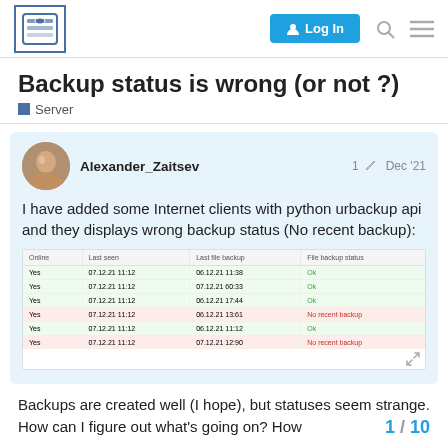UrBackup Forum header with logo, Log In button, search and menu icons
Backup status is wrong (or not ?)
Server
Alexander_Zaitsev  1  Dec '21
I have added some Internet clients with python urbackup api and they displays wrong backup status (No recent backup):
| Online | Last seen | Last file backup | File backup status |
| --- | --- | --- | --- |
| Yes | 07.12.21 11:12 | 06.12.21 11:38 | Ok |
| Yes | 07.12.21 11:12 | 07.12.21 60:33 | Ok |
| Yes | 07.12.21 11:12 | 06.12.21 17:44 | Ok |
| Yes | 07.12.21 11:12 | 06.12.21 13:61 | No recent backup |
| Yes | 07.12.21 11:12 | 06.12.21 11:12 | Ok |
| Yes | 07.12.21 11:12 | 07.12.21 12:90 | No recent backup |
Backups are created well (I hope), but statuses seem strange. How can I figure out what's going on? How
1 / 10